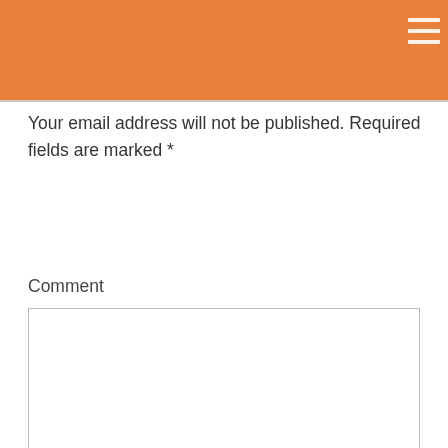[Figure (screenshot): Orange navigation header bar with hamburger menu icon (three horizontal lines) in the top right corner]
Your email address will not be published. Required fields are marked *
Comment
[Figure (screenshot): Empty comment text area input box with border]
[Figure (screenshot): AddThis social sharing widget showing cooking illustration icons, 'Also delicious on Gastronomy...' text, Gastronomy blog logo with 'BY CATHY CHAPLIN' text, 'Horses – Hollywood | G...' article title, gastronomyblog.com URL, and AddThis button]
Horses – Hollywood | G...
gastronomyblog.com